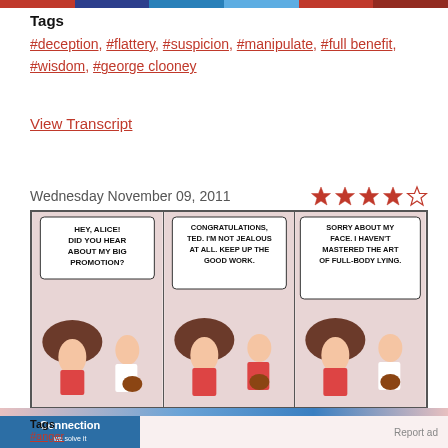top color bar
Tags
#deception, #flattery, #suspicion, #manipulate, #full benefit, #wisdom, #george clooney
View Transcript
Wednesday November 09, 2011
[Figure (illustration): Dilbert comic strip with three panels. Panel 1: character says 'Hey, Alice! Did you hear about my big promotion?' Panel 2: Alice responds 'Congratulations, Ted. I'm not jealous at all. Keep up the good work.' Panel 3: Ted says 'Sorry about my face. I haven't mastered the art of full-body lying.']
[Figure (infographic): Star rating showing 3.5 out of 5 stars (4 filled, 1 empty)]
[Figure (screenshot): Advertisement banner for Connection 'we solve it' with product images of electronics]
Tags
#anger ... (partial tags visible)